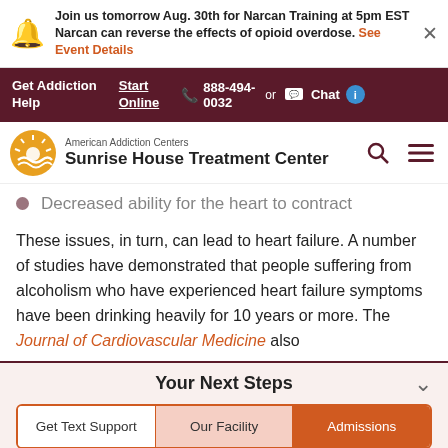Join us tomorrow Aug. 30th for Narcan Training at 5pm EST Narcan can reverse the effects of opioid overdose. See Event Details
Get Addiction Help | Start Online | 888-494-0032 | or | Chat
[Figure (logo): American Addiction Centers – Sunrise House Treatment Center logo with sunrise graphic icon]
Decreased ability for the heart to contract
These issues, in turn, can lead to heart failure. A number of studies have demonstrated that people suffering from alcoholism who have experienced heart failure symptoms have been drinking heavily for 10 years or more. The Journal of Cardiovascular Medicine also
Your Next Steps
Get Text Support | Our Facility | Admissions